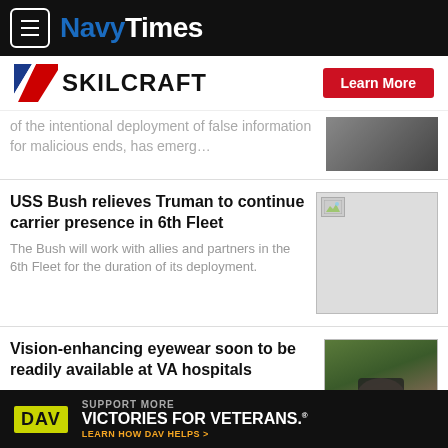NavyTimes
[Figure (logo): SKILCRAFT logo with red/white/blue chevron flag icon and Learn More button]
of the intentional deployment of false information for malicious ends, has emerg…
USS Bush relieves Truman to continue carrier presence in 6th Fleet
The Bush will work with allies and partners in the 6th Fleet for the duration of its deployment.
Vision-enhancing eyewear soon to be readily available at VA hospitals
The high-speed cameras in the eSight
[Figure (logo): DAV (Disabled American Veterans) ad banner: Support More Victories for Veterans. Learn How DAV Helps.]